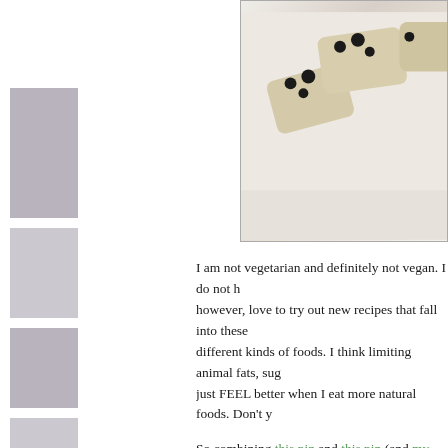[Figure (photo): Photo of cookie/bar bites with dark chocolate chips on a light background, partially visible in upper right corner of page]
I am not vegetarian and definitely not vegan. I do not h... however, love to try out new recipes that fall into these... different kinds of foods. I think limiting animal fats, sug... just FEEL better when I eat more natural foods. Don't y...
So combining this pin and this pin (and my obsession ... bites. From what I read, these are completely gluten-fr... besides what is in the chocolate chips. I am pretty sure... non-dairy as well. I am not fully educated on gluten fre... these assumptions. If you have a sensitivity or prefere...
Here's what I did:
First, get your ingredients: